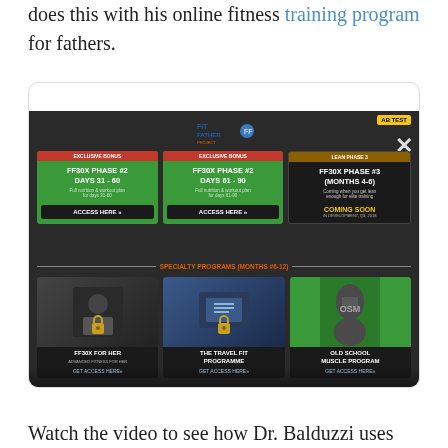does this with his online fitness training program for fathers.
[Figure (screenshot): Screenshot of the Fit Father Project online portal showing FF30X Phase #2 Days 31-60, FF30X Phase #2 Days 61-90, FF30X Phase #3 (Months 4-6) Coming Soon cards, and Specialty Programs (Months #6-12) including FF30X For Her, The Travel Fit Programme, and Old School Muscle Program cards. Has AB Test badge and close X button visible.]
Watch the video to see how Dr. Balduzzi uses